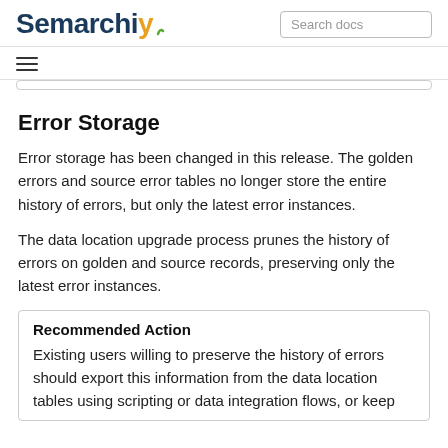Semarchy — Search docs
Error Storage
Error storage has been changed in this release. The golden errors and source error tables no longer store the entire history of errors, but only the latest error instances.
The data location upgrade process prunes the history of errors on golden and source records, preserving only the latest error instances.
Recommended Action
Existing users willing to preserve the history of errors should export this information from the data location tables using scripting or data integration flows, or keep